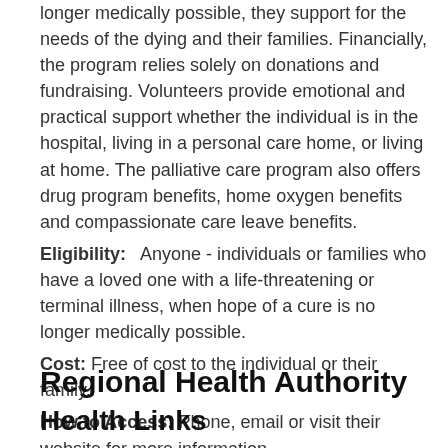longer medically possible, they support for the needs of the dying and their families. Financially, the program relies solely on donations and fundraising. Volunteers provide emotional and practical support whether the individual is in the hospital, living in a personal care home, or living at home. The palliative care program also offers drug program benefits, home oxygen benefits and compassionate care leave benefits.
Eligibility:   Anyone - individuals or families who have a loved one with a life-threatening or terminal illness, when hope of a cure is no longer medically possible.
Cost: Free of cost to the individual or their family.
How to Access: Phone, email or visit their website for more information.
Hours: N/A
Regional Health Authority
Health Links